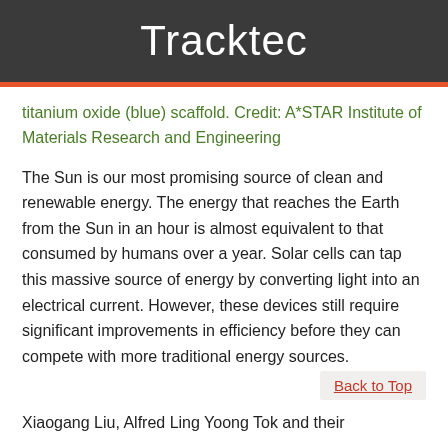Tracktec
titanium oxide (blue) scaffold. Credit: A*STAR Institute of Materials Research and Engineering
The Sun is our most promising source of clean and renewable energy. The energy that reaches the Earth from the Sun in an hour is almost equivalent to that consumed by humans over a year. Solar cells can tap this massive source of energy by converting light into an electrical current. However, these devices still require significant improvements in efficiency before they can compete with more traditional energy sources.
Back to Top
Xiaogang Liu, Alfred Ling Yoong Tok and their